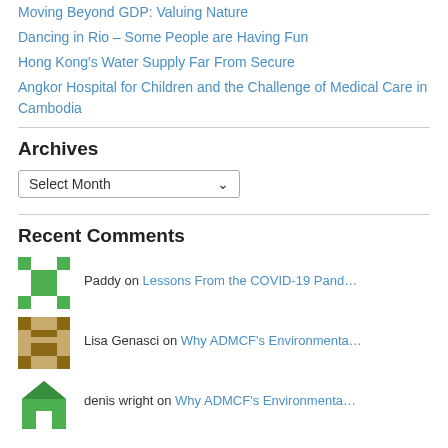Moving Beyond GDP: Valuing Nature
Dancing in Rio – Some People are Having Fun
Hong Kong's Water Supply Far From Secure
Angkor Hospital for Children and the Challenge of Medical Care in Cambodia
Archives
Select Month (dropdown)
Recent Comments
Paddy on Lessons From the COVID-19 Pand…
Lisa Genasci on Why ADMCF's Environmenta…
denis wright on Why ADMCF's Environmenta…